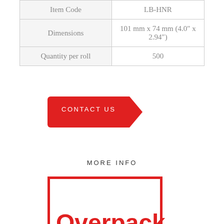|  |  |
| --- | --- |
| Item Code | LB-HNR |
| Dimensions | 101 mm x 74 mm (4.0" x 2.94") |
| Quantity per roll | 500 |
CONTACT US
MORE INFO
[Figure (illustration): Overpack label with red border and bold red 'Overpack' text on white background]